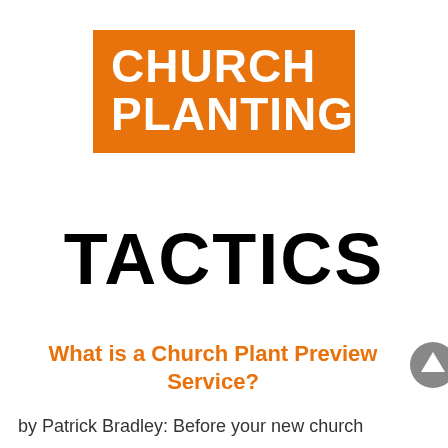CHURCH PLANTING TACTICS
What is a Church Plant Preview Service?
by Patrick Bradley: Before your new church